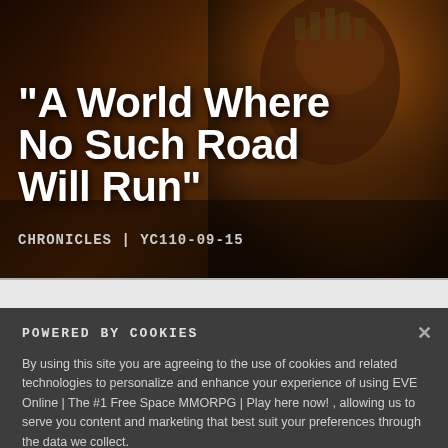[Figure (photo): Dark atmospheric hero image from EVE Online showing a figure with ornate headgear against a fiery orange and dark background]
"A World Where No Such Road Will Run"
CHRONICLES | YC110-09-15
POWERED BY COOKIES
By using this site you are agreeing to the use of cookies and related technologies to personalize and enhance your experience of using EVE Online | The #1 Free Space MMORPG | Play here now! , allowing us to serve you content and marketing that best suit your preferences through the data we collect.